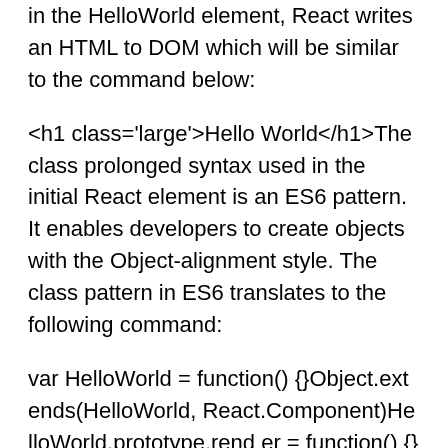in the HelloWorld element, React writes an HTML to DOM which will be similar to the command below:
<h1 class='large'>Hello World</h1>The class prolonged syntax used in the initial React element is an ES6 pattern. It enables developers to create objects with the Object-alignment style. The class pattern in ES6 translates to the following command:
var HelloWorld = function() {}Object.extends(HelloWorld, React.Component)HelloWorld.prototype.render = function() {}Due to the fact that React is JavaScript, words reserved for Javascript